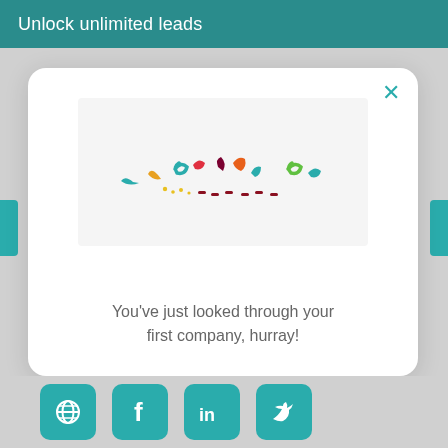Unlock unlimited leads
[Figure (screenshot): Modal dialog with confetti illustration and text 'You've just looked through your first company, hurray!']
You’ve just looked through your first company, hurray!